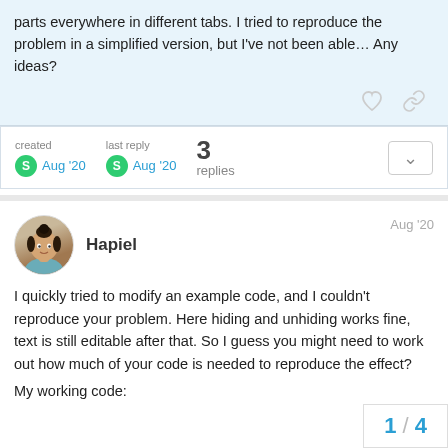parts everywhere in different tabs. I tried to reproduce the problem in a simplified version, but I've not been able… Any ideas?
created Aug '20   last reply Aug '20   3 replies
Hapiel   Aug '20
I quickly tried to modify an example code, and I couldn't reproduce your problem. Here hiding and unhiding works fine, text is still editable after that. So I guess you might need to work out how much of your code is needed to reproduce the effect?
My working code:
1 / 4